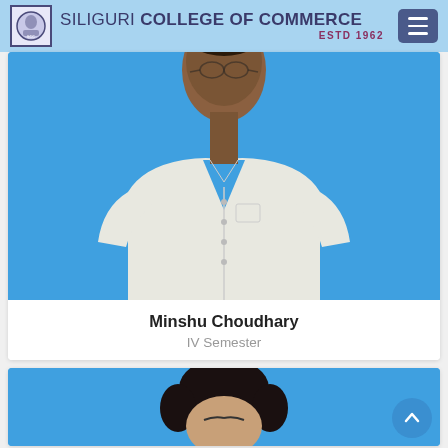SILIGURI COLLEGE OF COMMERCE ESTD 1962
[Figure (photo): Portrait photo of a young man wearing a white collared shirt, against a blue background. Upper body visible.]
Minshu Choudhary
IV Semester
[Figure (photo): Partial portrait photo of a second person (head visible) against a blue background.]